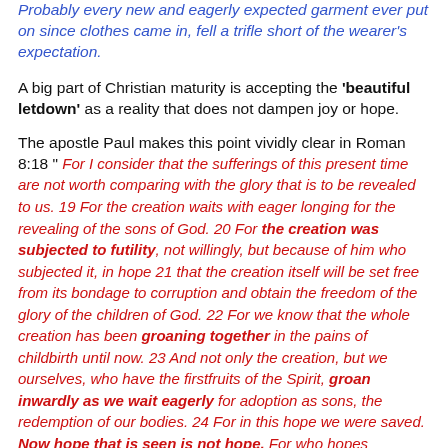Probably every new and eagerly expected garment ever put on since clothes came in, fell a trifle short of the wearer's expectation.
A big part of Christian maturity is accepting the 'beautiful letdown' as a reality that does not dampen joy or hope.
The apostle Paul makes this point vividly clear in Roman 8:18 " For I consider that the sufferings of this present time are not worth comparing with the glory that is to be revealed to us. 19 For the creation waits with eager longing for the revealing of the sons of God. 20 For the creation was subjected to futility, not willingly, but because of him who subjected it, in hope 21 that the creation itself will be set free from its bondage to corruption and obtain the freedom of the glory of the children of God. 22 For we know that the whole creation has been groaning together in the pains of childbirth until now. 23 And not only the creation, but we ourselves, who have the firstfruits of the Spirit, groan inwardly as we wait eagerly for adoption as sons, the redemption of our bodies. 24 For in this hope we were saved. Now hope that is seen is not hope. For who hopes